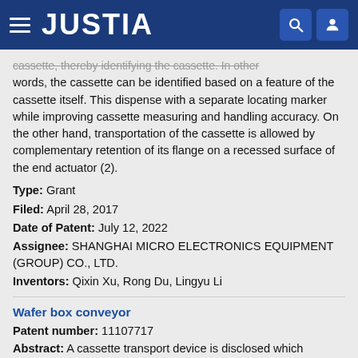JUSTIA
cassette, thereby identifying the cassette. In other words, the cassette can be identified based on a feature of the cassette itself. This dispense with a separate locating marker while improving cassette measuring and handling accuracy. On the other hand, transportation of the cassette is allowed by complementary retention of its flange on a recessed surface of the end actuator (2).
Type: Grant
Filed: April 28, 2017
Date of Patent: July 12, 2022
Assignee: SHANGHAI MICRO ELECTRONICS EQUIPMENT (GROUP) CO., LTD.
Inventors: Qixin Xu, Rong Du, Lingyu Li
Wafer box conveyor
Patent number: 11107717
Abstract: A cassette transport device is disclosed which